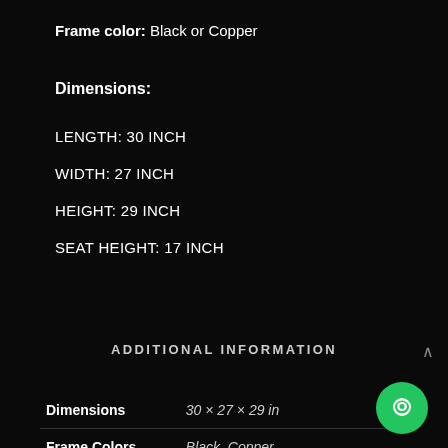Frame color: Black or Copper
Dimensions:
LENGTH: 30 INCH
WIDTH: 27 INCH
HEIGHT: 29 INCH
SEAT HEIGHT: 17 INCH
ADDITIONAL INFORMATION
|  |  |
| --- | --- |
| Dimensions | 30 × 27 × 29 in |
| Frame Colors | Black, Copper |